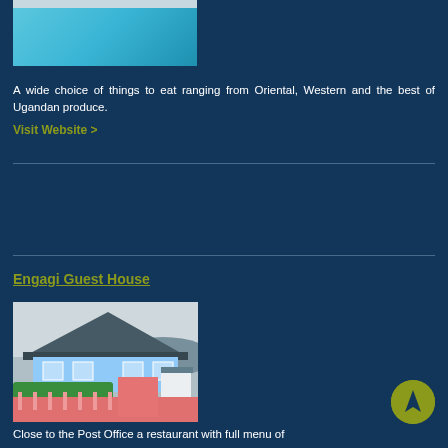[Figure (photo): Swimming pool with blue water, partial view showing pool edge and tiles]
A wide choice of things to eat ranging from Oriental, Western and the best of Ugandan produce.
Visit Website >
Engagi Guest House
[Figure (photo): Exterior photo of Engagi Guest House - a blue building with hedges and pink/orange wall in foreground, hills visible in background]
Close to the Post Office a restaurant with full menu of